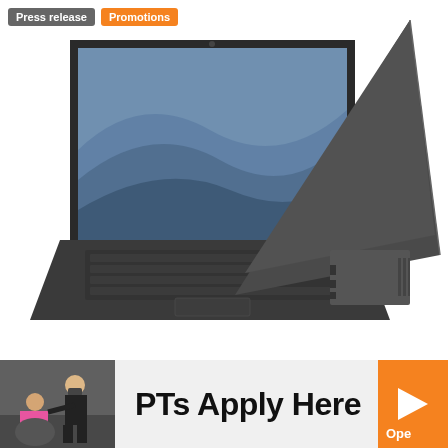Press release  Promotions
[Figure (photo): Two dark gray laptops arranged in an X-shape on a white background, showing the screen of one and the back lid of the other. The open laptop displays a blue-grey wave wallpaper.]
[Figure (photo): Banner advertisement: physical therapist in black assisting a patient in pink on a therapy ball, text 'PTs Apply Here', orange logo button with triangle and partial text 'Ope']